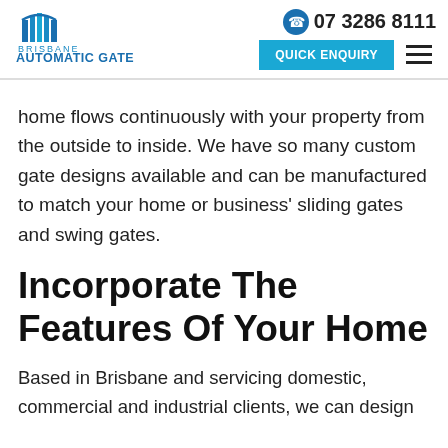[Figure (logo): Brisbane Automatic Gate Systems logo with blue building/gate icon and company name]
07 3286 8111 | QUICK ENQUIRY | hamburger menu
home flows continuously with your property from the outside to inside. We have so many custom gate designs available and can be manufactured to match your home or business' sliding gates and swing gates.
Incorporate The Features Of Your Home
Based in Brisbane and servicing domestic, commercial and industrial clients, we can design